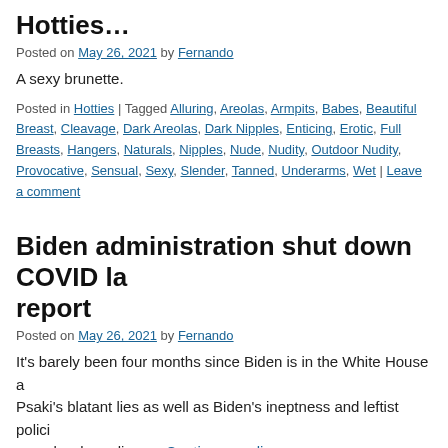Hotties…
Posted on May 26, 2021 by Fernando
A sexy brunette.
Posted in Hotties | Tagged Alluring, Areolas, Armpits, Babes, Beautiful Breasts, Cleavage, Dark Areolas, Dark Nipples, Enticing, Erotic, Full Breasts, Hangers, Naturals, Nipples, Nude, Nudity, Outdoor Nudity, Provocative, Sensual, Sexy, Slender, Tanned, Underarms, Wet | Leave a comment
Biden administration shut down COVID lab report
Posted on May 26, 2021 by Fernando
It's barely been four months since Biden is in the White House and Psaki's blatant lies as well as Biden's ineptness and leftist policies, open border policy, … Continue reading →
Posted in General Discussion, Politics | Tagged Alejandro Mayorkas, Anthony Coronavirus, COVID-19, Dr. Anthony Fauci, Jennifer Psaki, Joe Biden, Wuhan